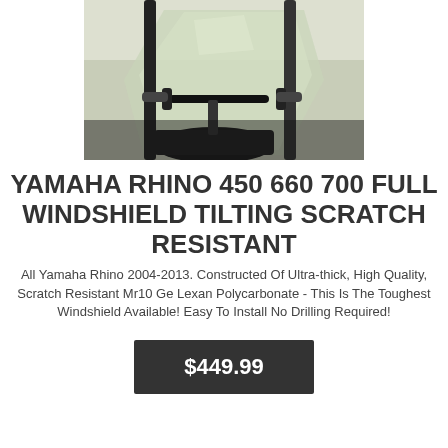[Figure (photo): Close-up photo of a Yamaha Rhino UTV windshield, showing clear polycarbonate windshield, handlebars, and black seat/frame components against a light background.]
YAMAHA RHINO 450 660 700 FULL WINDSHIELD TILTING SCRATCH RESISTANT
All Yamaha Rhino 2004-2013. Constructed Of Ultra-thick, High Quality, Scratch Resistant Mr10 Ge Lexan Polycarbonate - This Is The Toughest Windshield Available! Easy To Install No Drilling Required!
$449.99